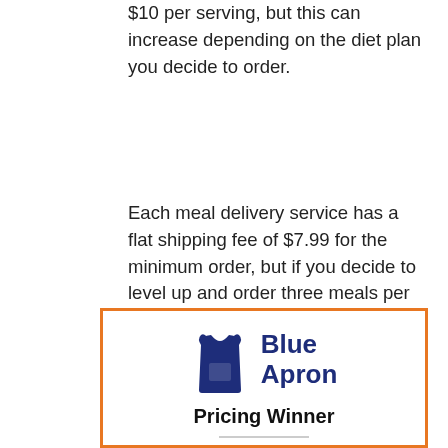$10 per serving, but this can increase depending on the diet plan you decide to order.
Each meal delivery service has a flat shipping fee of $7.99 for the minimum order, but if you decide to level up and order three meals per week with Blue Apron, the delivery fee is waived.
[Figure (logo): Blue Apron logo with apron icon and brand name, inside an orange-bordered box with 'Pricing Winner' label and a horizontal divider line.]